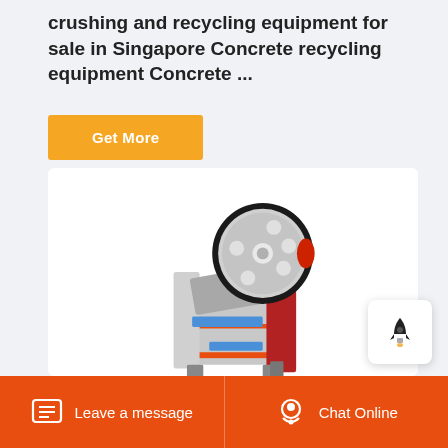crushing and recycling equipment for sale in Singapore Concrete recycling equipment Concrete ...
Get More
[Figure (photo): Industrial jaw crusher machine with large flywheel, red and grey body, on white background]
[Figure (illustration): Rocket/launch icon widget button]
Leave a message   Chat Online